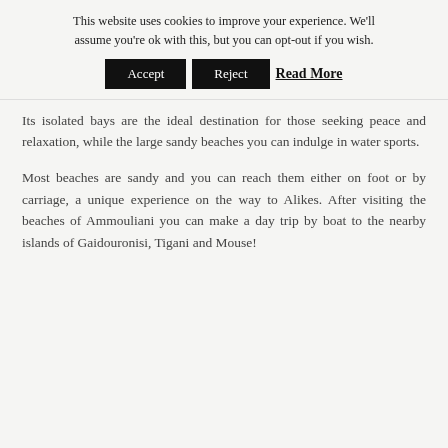This website uses cookies to improve your experience. We'll assume you're ok with this, but you can opt-out if you wish.
Accept   Reject   Read More
Its isolated bays are the ideal destination for those seeking peace and relaxation, while the large sandy beaches you can indulge in water sports.
Most beaches are sandy and you can reach them either on foot or by carriage, a unique experience on the way to Alikes. After visiting the beaches of Ammouliani you can make a day trip by boat to the nearby islands of Gaidouronisi, Tigani and Mouse!